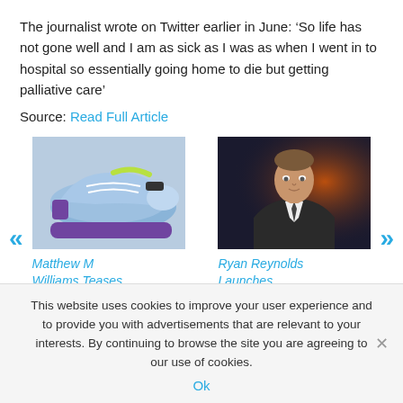The journalist wrote on Twitter earlier in June: ‘So life has not gone well and I am as sick as I was as when I went in to hospital so essentially going home to die but getting palliative care’
Source: Read Full Article
[Figure (photo): Photo of colorful sneakers (purple/blue/green athletic shoes)]
Matthew M Williams Teases New Givenchy TK-MX Silhouette
[Figure (photo): Photo of Ryan Reynolds in suit, cinematic background]
Ryan Reynolds Launches Nonprofit for Creative Talent From
This website uses cookies to improve your user experience and to provide you with advertisements that are relevant to your interests. By continuing to browse the site you are agreeing to our use of cookies.
Ok